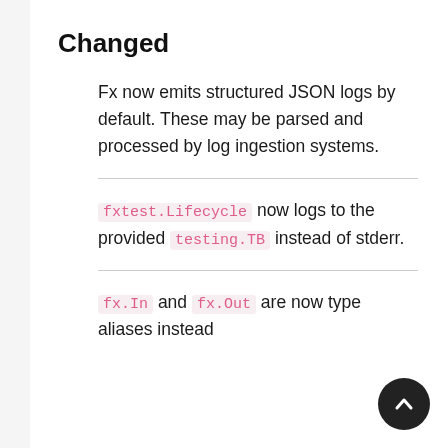Changed
Fx now emits structured JSON logs by default. These may be parsed and processed by log ingestion systems.
fxtest.Lifecycle now logs to the provided testing.TB instead of stderr.
fx.In and fx.Out are now type aliases instead